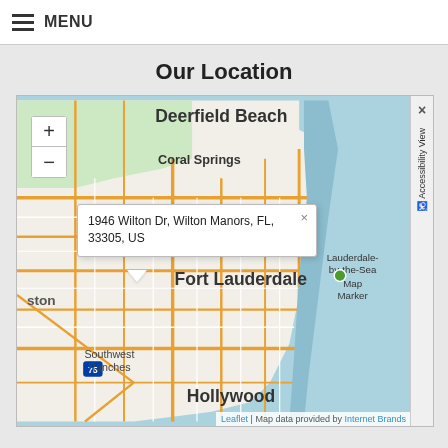MENU
Our Location
[Figure (map): Interactive Leaflet map showing South Florida area including Deerfield Beach, Coral Springs, Fort Lauderdale, Hollywood, Southwest Ranches, and Lauderdale-by-the-Sea. A popup shows the address: 1946 Wilton Dr, Wilton Manors, FL, 33305, US with a map marker. Map includes zoom controls (+/-) and attribution to Leaflet and Internet Brands.]
Leaflet | Map data provided by Internet Brands